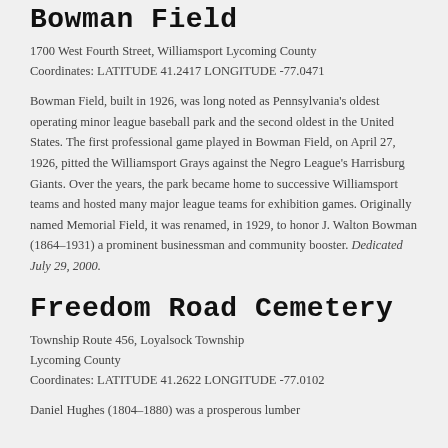Bowman Field
1700 West Fourth Street, Williamsport Lycoming County
Coordinates: LATITUDE 41.2417 LONGITUDE -77.0471
Bowman Field, built in 1926, was long noted as Pennsylvania's oldest operating minor league baseball park and the second oldest in the United States. The first professional game played in Bowman Field, on April 27, 1926, pitted the Williamsport Grays against the Negro League's Harrisburg Giants. Over the years, the park became home to successive Williamsport teams and hosted many major league teams for exhibition games. Originally named Memorial Field, it was renamed, in 1929, to honor J. Walton Bowman (1864–1931) a prominent businessman and community booster. Dedicated July 29, 2000.
Freedom Road Cemetery
Township Route 456, Loyalsock Township
Lycoming County
Coordinates: LATITUDE 41.2622 LONGITUDE -77.0102
Daniel Hughes (1804–1880) was a prosperous lumber